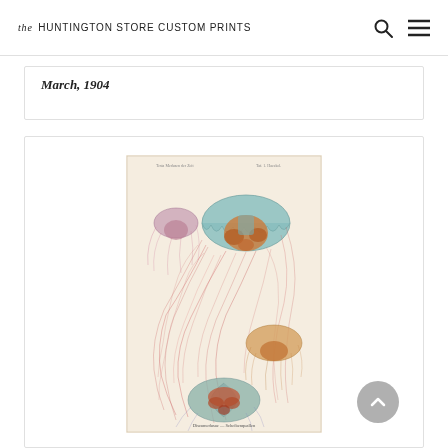the HUNTINGTON STORE CUSTOM PRINTS
March, 1904
[Figure (illustration): Antique botanical/zoological illustration of jellyfish (Medusae) by Ernst Haeckel, showing multiple jellyfish species with flowing tentacles in pink, teal, orange and cream tones on a cream background. Caption reads: Discomedusae — Scheibenquallen]